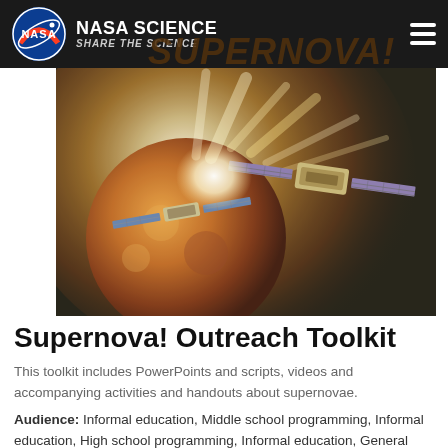NASA SCIENCE | SHARE THE SCIENCE
[Figure (illustration): NASA Supernova! promotional banner image showing two spacecraft/satellites against a dramatic supernova explosion with a planet in the foreground. Text reads SUPERNOVA! overlaid on the image.]
Supernova! Outreach Toolkit
This toolkit includes PowerPoints and scripts, videos and accompanying activities and handouts about supernovae.
Audience: Informal education, Middle school programming, Informal education, High school programming, Informal education, General public